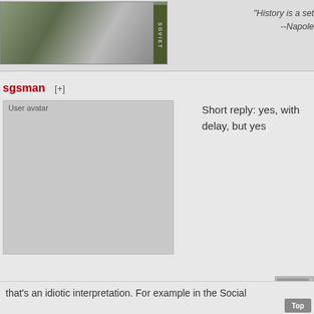[Figure (photo): User avatar image showing a person, with a green Soviet-themed label on the right edge]
"History is a set... --Napole...
sgsman [+]
[Figure (photo): User avatar placeholder image]
Short reply: yes, with delay, but yes
[Figure (photo): Small image on right side, partially cut off, with label 'Ov...']
maciek1905 [+]
I'm sorry for that guy (from the age and preferences prop... that isn't true here.
Quote:
3. Social Acts (Czyny społeczne) - deeds which was making by m... enterprise was building ground train in Chorzow.
that's an idiotic interpretation. For example in the Social